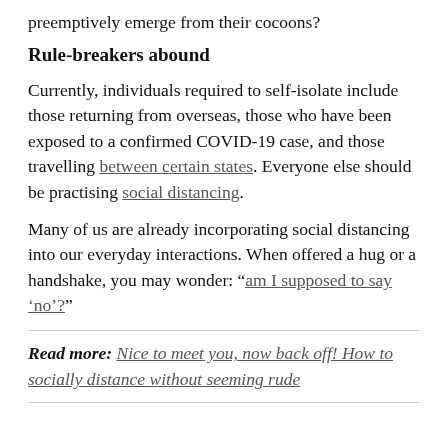preemptively emerge from their cocoons?
Rule-breakers abound
Currently, individuals required to self-isolate include those returning from overseas, those who have been exposed to a confirmed COVID-19 case, and those travelling between certain states. Everyone else should be practising social distancing.
Many of us are already incorporating social distancing into our everyday interactions. When offered a hug or a handshake, you may wonder: “am I supposed to say ‘no’?”
Read more: Nice to meet you, now back off! How to socially distance without seeming rude